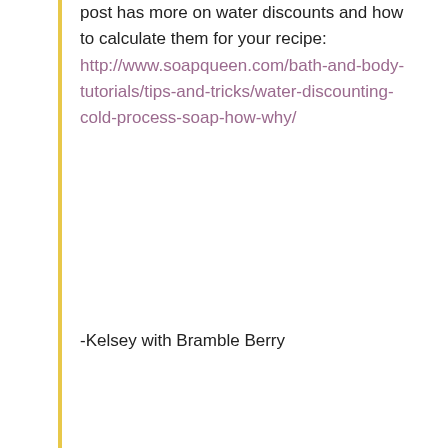post has more on water discounts and how to calculate them for your recipe: http://www.soapqueen.com/bath-and-body-tutorials/tips-and-tricks/water-discounting-cold-process-soap-how-why/
-Kelsey with Bramble Berry
[Figure (illustration): Dark purple circular avatar with a white lotus/leaf icon in the center]
Wendy says
October 19, 2016 at 10:25 am
Hello! I have a similar project in mind but need a suggestion. I have the guest lotus mold and want to do M&P in the petals and CP for the rest. I was wondering how to make sure the M&P sticks to the